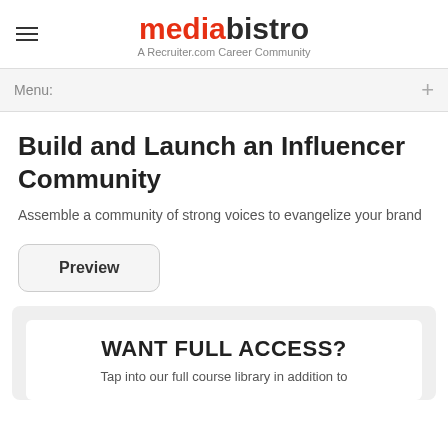mediabistro — A Recruiter.com Career Community
Menu:
Build and Launch an Influencer Community
Assemble a community of strong voices to evangelize your brand
Preview
WANT FULL ACCESS? Tap into our full course library in addition to